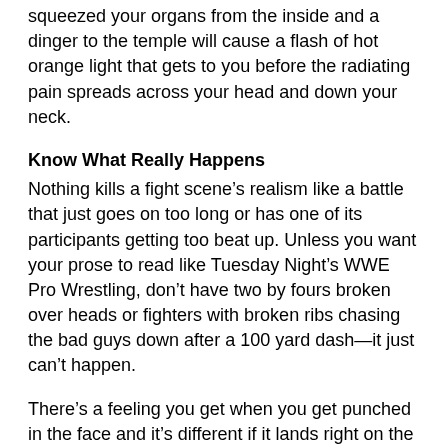squeezed your organs from the inside and a dinger to the temple will cause a flash of hot orange light that gets to you before the radiating pain spreads across your head and down your neck.
Know What Really Happens
Nothing kills a fight scene's realism like a battle that just goes on too long or has one of its participants getting too beat up. Unless you want your prose to read like Tuesday Night's WWE Pro Wrestling, don't have two by fours broken over heads or fighters with broken ribs chasing the bad guys down after a 100 yard dash—it just can't happen.
There's a feeling you get when you get punched in the face and it's different if it lands right on the nose, on the forehead or on the side of the head. A shot in the jaw will hurt in the ear and a hard blow to the ear will cause a sharp pain to run through your head. A punch to the stomach is different if it lands square in the breadbox, over the liver or just north to the solar plexus. The world famous kick to the groin is less effective in real life than you think because it's actually a small target (make your own jokes) and even if you hit your